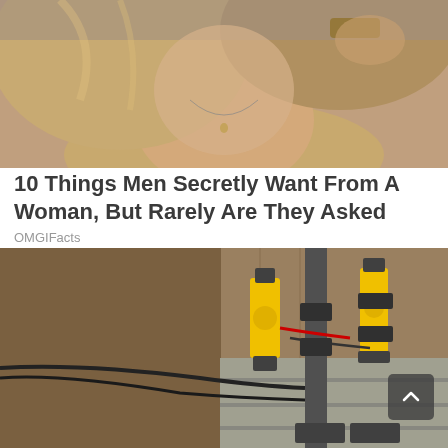[Figure (photo): Photo of a blonde woman wearing a beige/gold top and a watch, necklace visible, touching her hair, close-up lifestyle photo]
10 Things Men Secretly Want From A Woman, But Rarely Are They Asked
OMGIFacts
[Figure (photo): Photo of construction/engineering equipment — yellow hydraulic jacks or piers mounted on a concrete foundation wall beside an excavated area with dirt and cables]